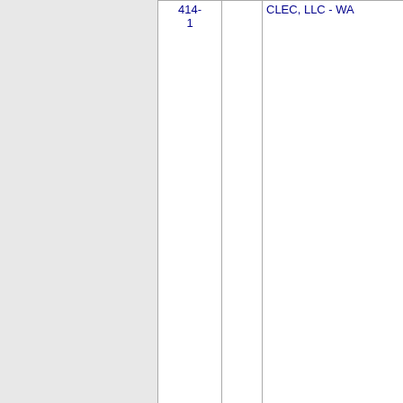| Number | State | Name | Code | Status |
| --- | --- | --- | --- | --- |
| 414-1 |  | CLEC, LLC - WA |  |  |
| Thousands block for 509-416 |  |  |  |  |
| 509-416-6 | WA | BANDWIDTH.COM CLEC, LLC - WA | 006F | PA |